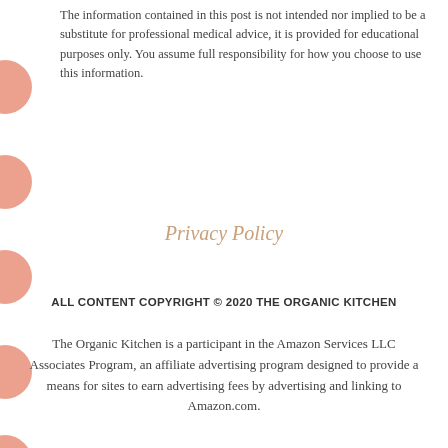The information contained in this post is not intended nor implied to be a substitute for professional medical advice, it is provided for educational purposes only. You assume full responsibility for how you choose to use this information.
Privacy Policy
ALL CONTENT COPYRIGHT © 2020 THE ORGANIC KITCHEN
The Organic Kitchen is a participant in the Amazon Services LLC Associates Program, an affiliate advertising program designed to provide a means for sites to earn advertising fees by advertising and linking to Amazon.com.